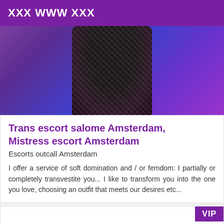XXX WWW XXX
[Figure (photo): Partial photo of a person wearing dark lace clothing against a purple/blue background]
Trans escort salome Amsterdam, Mistress escort Amsterdam
Escorts outcall Amsterdam
I offer a service of soft domination and / or femdom: I partially or completely transvestite you... I like to transform you into the one you love, choosing an outfit that meets our desires etc...
[Figure (other): VIP badge card section (partially visible)]